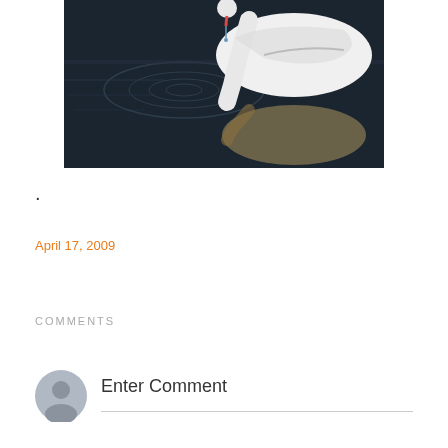[Figure (photo): A white swan on dark water with its neck dipping down, water ripples visible, and the swan's reflection in the water.]
.
April 17, 2009
COMMENTS
Enter Comment